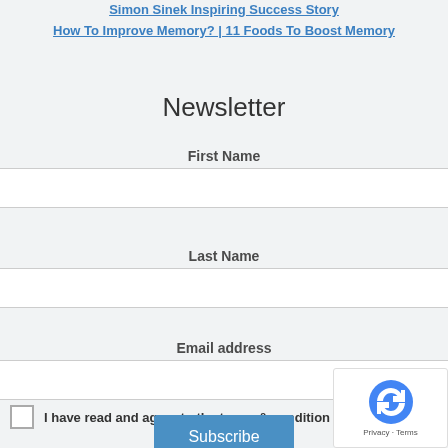Simon Sinek Inspiring Success Story
How To Improve Memory? | 11 Foods To Boost Memory
Newsletter
First Name
Last Name
Email address
I have read and agree to the terms & conditions
Subscribe